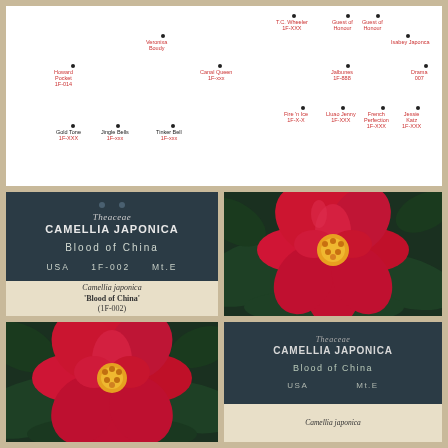[Figure (map): Distribution map showing labeled variety locations including Blood of China, T.C. Wheeler, Guest of Honor, Imura, Isabey, Drama, Howard Pocket, Canal Queen, Jalbenas, Gold Tone, Jingle Bells, Tinker Bell, Fire 'n Ice, Lluao Jenny, French Perfection, Jessie Katz, and others with dots and red labels]
[Figure (photo): Plant label card: Theaceae CAMELLIA JAPONICA, Blood of China, USA 1F-002 Mt.E, with caption Camellia japonica 'Blood of China' (1F-002)]
[Figure (photo): Close-up photo of a bright red Camellia japonica 'Blood of China' flower with yellow stamens against dark green leaves]
[Figure (photo): Close-up photo of a red Camellia japonica 'Blood of China' flower with yellow stamens against green leaves, slightly different angle]
[Figure (photo): Plant label card: Theaceae CAMELLIA JAPONICA, Blood of China, USA Mt.E, with caption Camellia japonica (partially visible)]